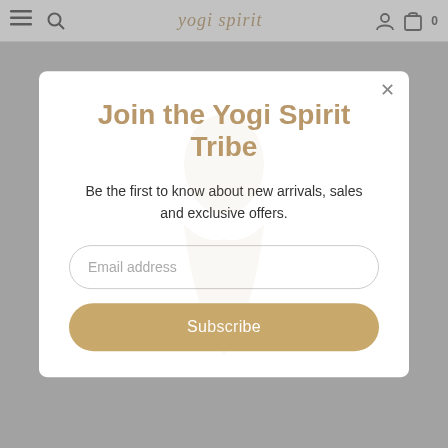≡  🔍  yogi spirit  👤  🛒 0
Join the Yogi Spirit Tribe
Be the first to know about new arrivals, sales and exclusive offers.
Email address
Subscribe